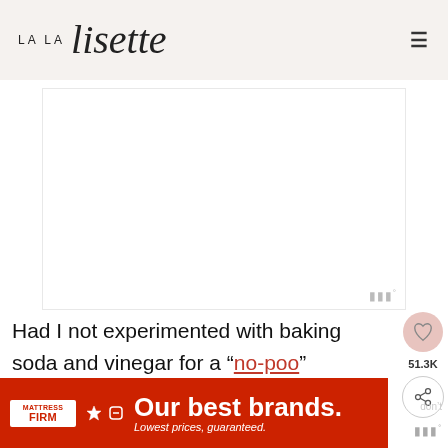LA LA lisette
[Figure (other): Blank white advertisement placeholder box in the middle of the page]
Had I not experimented with baking soda and vinegar for a “no-poo” experiment I wouldn’t have believed that vinegar conditions, but it
[Figure (other): Mattress Firm advertisement banner: red background with white text reading 'Our best brands. Lowest prices, guaranteed.']